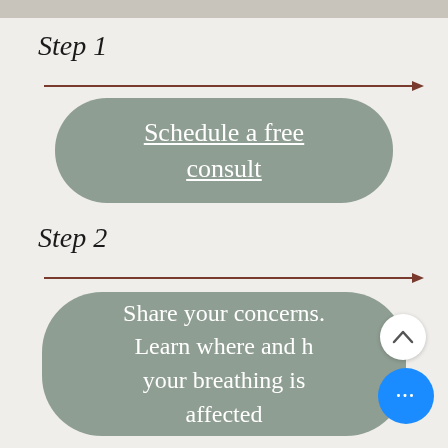Step 1
[Figure (infographic): Horizontal arrow pointing right, brown/dark red color]
Schedule a free consult
Step 2
[Figure (infographic): Horizontal arrow pointing right, brown/dark red color]
Share your concerns. Learn where and how your breathing is affected